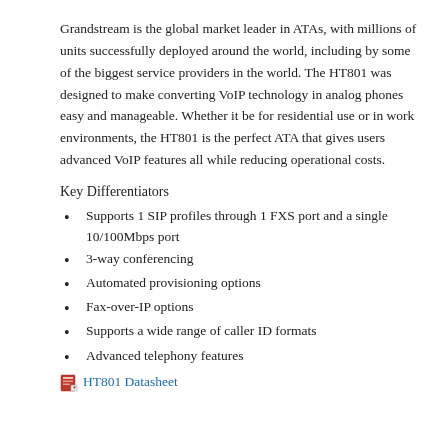Grandstream is the global market leader in ATAs, with millions of units successfully deployed around the world, including by some of the biggest service providers in the world. The HT801 was designed to make converting VoIP technology in analog phones easy and manageable. Whether it be for residential use or in work environments, the HT801 is the perfect ATA that gives users advanced VoIP features all while reducing operational costs.
Key Differentiators
Supports 1 SIP profiles through 1 FXS port and a single 10/100Mbps port
3-way conferencing
Automated provisioning options
Fax-over-IP options
Supports a wide range of caller ID formats
Advanced telephony features
HT801 Datasheet